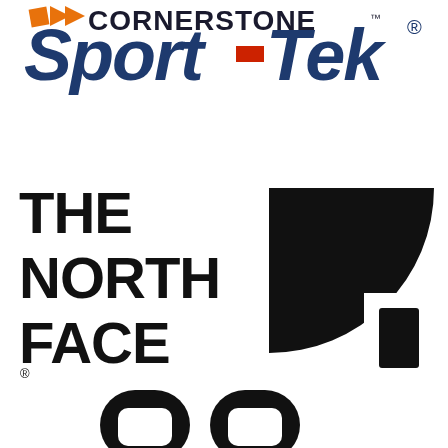[Figure (logo): Partially visible logo at top — appears to be Cornerstone or similar brand with orange and dark text, partially cropped]
[Figure (logo): Sport-Tek logo in dark navy blue italic bold text with a red hyphen dash element between Sport and Tek, with registered trademark symbol]
[Figure (logo): The North Face logo: black text THE NORTH FACE on left with large black quarter-circle mountain/dome graphic on right, registered trademark symbol]
[Figure (logo): Partially visible logo at bottom, appears to be a dark colored icon/symbol, cropped at bottom edge]